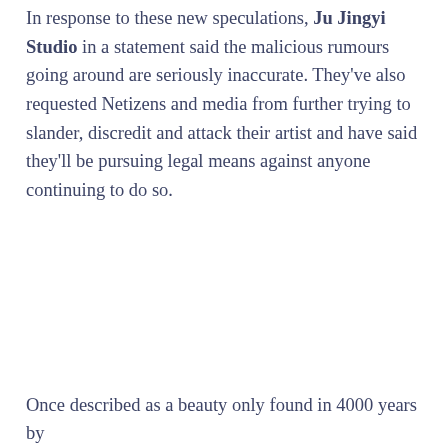In response to these new speculations, Ju Jingyi Studio in a statement said the malicious rumours going around are seriously inaccurate. They've also requested Netizens and media from further trying to slander, discredit and attack their artist and have said they'll be pursuing legal means against anyone continuing to do so.
Once described as a beauty only found in 4000 years by